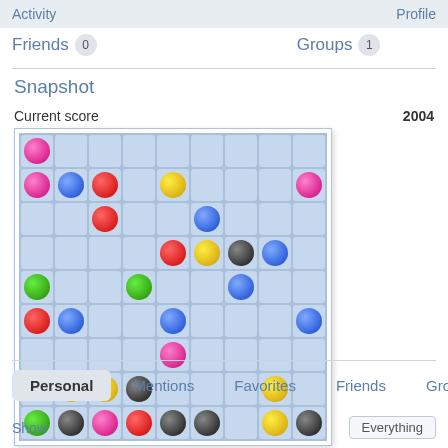Activity  Profile
Friends 0   Groups 1
Snapshot
Current score  2004
[Figure (screenshot): A 9x9 game board with colored marbles (pink, blue, red, yellow, green, black) placed on light blue grid cells.]
Personal  Mentions  Favorites  Friends  Groups
Show  Everything